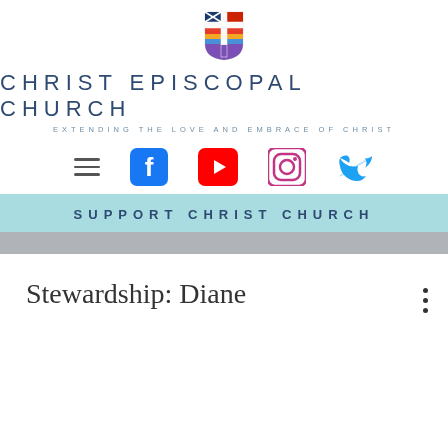[Figure (logo): Christ Episcopal Church shield logo with cross and rainbow colors]
CHRIST EPISCOPAL CHURCH
EXTENDING THE LOVE AND EMBRACE OF CHRIST
[Figure (other): Navigation bar with hamburger menu, Facebook, YouTube, Instagram, and Twitter icons]
SUPPORT CHRIST CHURCH
Stewardship: Diane